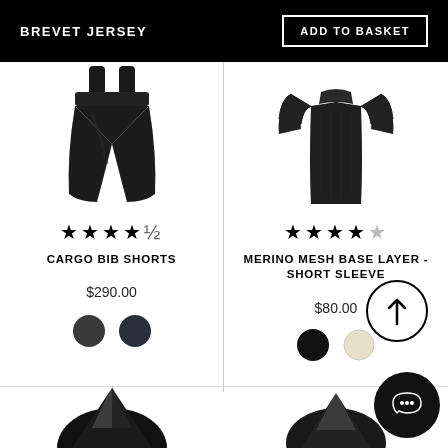BREVET JERSEY
ADD TO BASKET
[Figure (photo): Black cycling bib shorts product image]
★★★★½
CARGO BIB SHORTS
$290.00
[Figure (illustration): Two color swatches: dark charcoal and dark navy]
[Figure (photo): Black merino mesh short sleeve base layer product image]
★★★★½
MERINO MESH BASE LAYER - SHORT SLEEVE
$80.00
[Figure (illustration): Two color swatches: black and cream/beige]
[Figure (photo): Partial product image at bottom left]
[Figure (photo): Partial product image at bottom right]